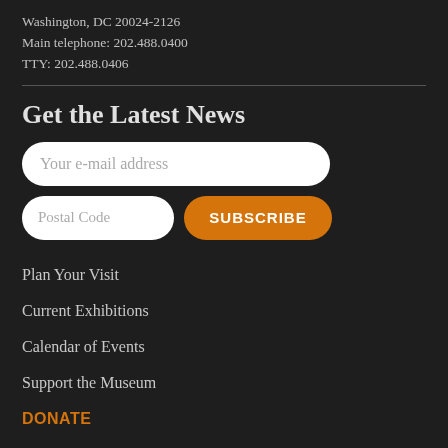Washington, DC 20024-2126
Main telephone: 202.488.0400
TTY: 202.488.0406
Get the Latest News
Your e-mail address
Postal Code
SUBSCRIBE
Plan Your Visit
Current Exhibitions
Calendar of Events
Support the Museum
DONATE